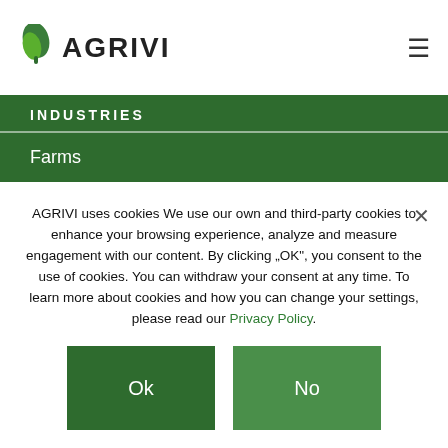[Figure (logo): AGRIVI logo with green leaf icon and bold text AGRIVI]
INDUSTRIES
Farms
Enterprise Farms
Cooperatives
Food & Beverages
Banks
AGRIVI uses cookies We use our own and third-party cookies to enhance your browsing experience, analyze and measure engagement with our content. By clicking „OK“, you consent to the use of cookies. You can withdraw your consent at any time. To learn more about cookies and how you can change your settings, please read our Privacy Policy.